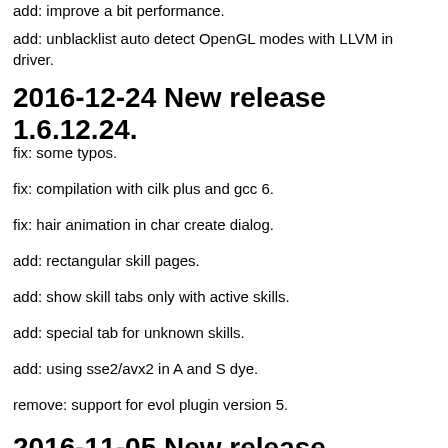add: improve a bit performance.
add: unblacklist auto detect OpenGL modes with LLVM in driver.
2016-12-24 New release 1.6.12.24.
fix: some typos.
fix: compilation with cilk plus and gcc 6.
fix: hair animation in char create dialog.
add: rectangular skill pages.
add: show skill tabs only with active skills.
add: special tab for unknown skills.
add: using sse2/avx2 in A and S dye.
remove: support for evol plugin version 5.
2016-11-05 New release 1.6.11.5.
fix: legacy status effects with block-id.
fix: some packets for some packet versions.